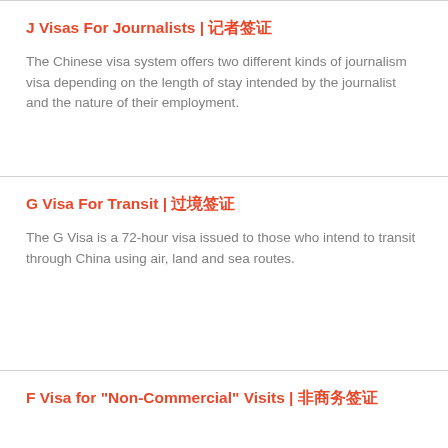J Visas For Journalists | 记者签证
The Chinese visa system offers two different kinds of journalism visa depending on the length of stay intended by the journalist and the nature of their employment.
G Visa For Transit | 过境签证
The G Visa is a 72-hour visa issued to those who intend to transit through China using air, land and sea routes.
F Visa for "Non-Commercial" Visits | 非商务签证